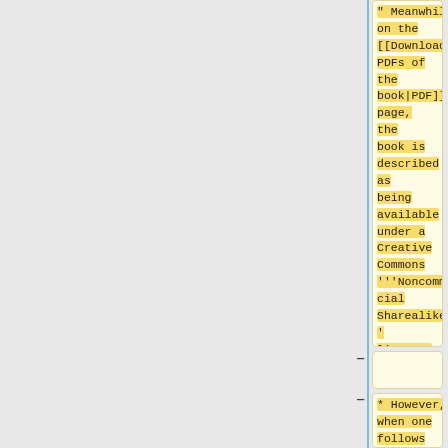" Meanwhile, on the [[Download PDFs of the book|PDF]] page, the book is described as being available under a Creative Commons '''Noncommercial Sharealike''' license.
* However, when one follows the